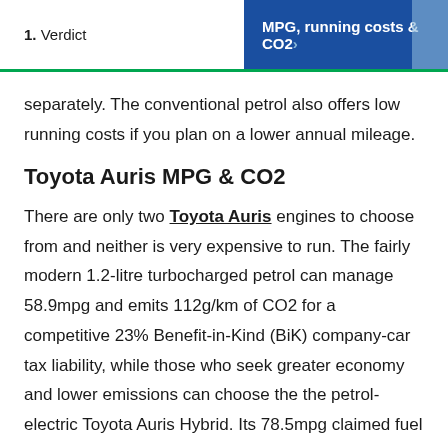1. Verdict | MPG, running costs & CO2 ›
separately. The conventional petrol also offers low running costs if you plan on a lower annual mileage.
Toyota Auris MPG & CO2
There are only two Toyota Auris engines to choose from and neither is very expensive to run. The fairly modern 1.2-litre turbocharged petrol can manage 58.9mpg and emits 112g/km of CO2 for a competitive 23% Benefit-in-Kind (BiK) company-car tax liability, while those who seek greater economy and lower emissions can choose the the petrol-electric Toyota Auris Hybrid. Its 78.5mpg claimed fuel consumption and 19% BiK impresses –